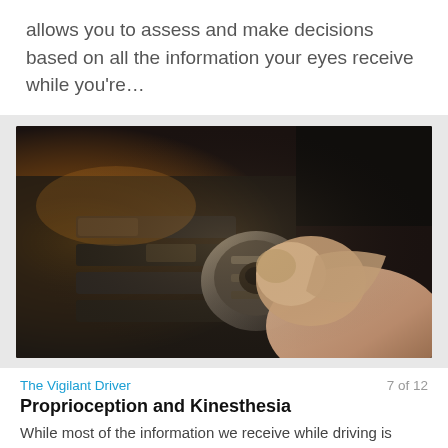allows you to assess and make decisions based on all the information your eyes receive while you're…
[Figure (photo): Close-up photo of a hand pressing a button or knob on a car dashboard/console, with warm orange lighting on the left side and dark background]
The Vigilant Driver
7 of 12
Proprioception and Kinesthesia
While most of the information we receive while driving is visual, our other senses are important too. In addition to sight, our brains collect information…